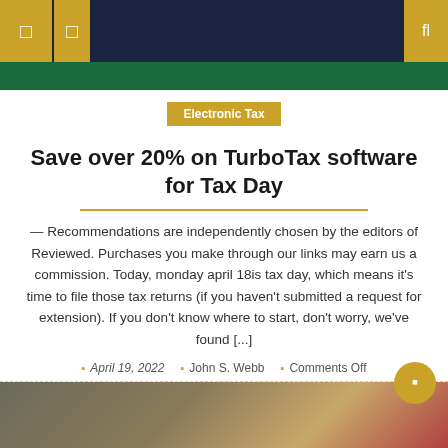Navigation header with icons and search
Electronic Tax
Save over 20% on TurboTax software for Tax Day
— Recommendations are independently chosen by the editors of Reviewed. Purchases you make through our links may earn us a commission. Today, monday april 18is tax day, which means it's time to file those tax returns (if you haven't submitted a request for extension). If you don't know where to start, don't worry, we've found [...]
April 19, 2022  John S. Webb  Comments Off
[Figure (photo): Bottom portion of a photo showing what appears to be a calculator and food items on a dark background]